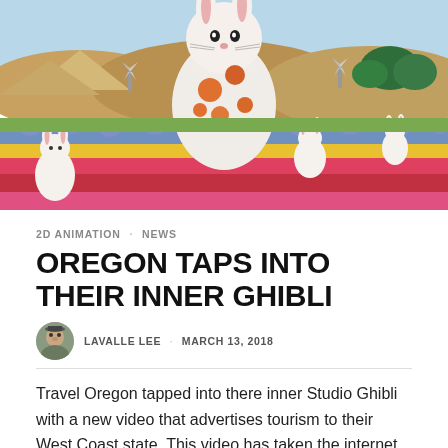[Figure (illustration): Studio Ghibli-style animated illustration of a large white rabbit with orange floral patterns, surrounded by smaller white rabbits in a colorful tulip field with rows of red, yellow, and pink tulips, rolling hills and trees in the background.]
2D ANIMATION · NEWS
OREGON TAPS INTO THEIR INNER GHIBLI
LAVALLE LEE · MARCH 13, 2018
Travel Oregon tapped into there inner Studio Ghibli with a new video that advertises tourism to their West Coast state. This video has taken the internet by storm! With millions of views combined through multiple platforms, Travel Oregon gave it a